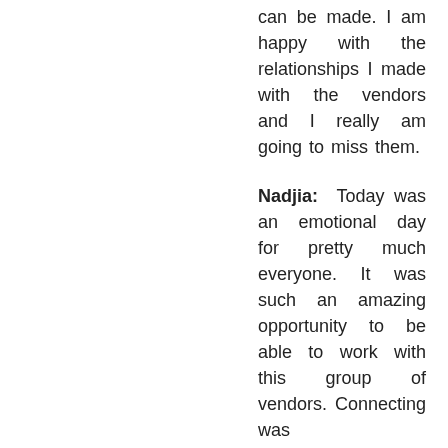can be made. I am happy with the relationships I made with the vendors and I really am going to miss them.
Nadjia: Today was an emotional day for pretty much everyone. It was such an amazing opportunity to be able to work with this group of vendors. Connecting was